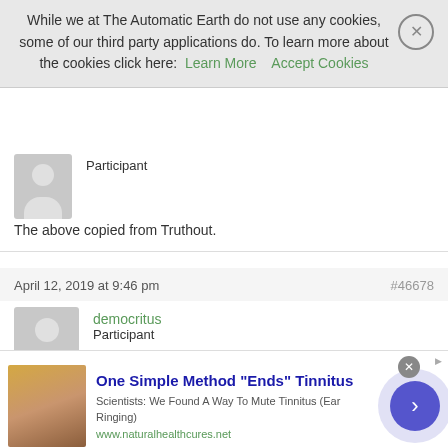While we at The Automatic Earth do not use any cookies, some of our third party applications do. To learn more about the cookies click here: Learn More   Accept Cookies
Participant
The above copied from Truthout.
April 12, 2019 at 9:46 pm
#46678
democritus
Participant
Yesterday in Parliament the shadow home secretary spoke in defence of Assange according to my memory and this article:
[Figure (infographic): Advertisement banner: One Simple Method "Ends" Tinnitus - Scientists: We Found A Way To Mute Tinnitus (Ear Ringing) www.naturalhealthcures.net, with ear image and arrow button]